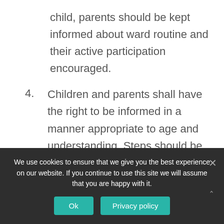child, parents should be kept informed about ward routine and their active participation encouraged.
4. Children and parents shall have the right to be informed in a manner appropriate to age and understanding. Steps should be taken to mitigate physical or emotional stress.
5. Children and parents have the right to informed participation in all decisions involving their health care. Every child shall be protected form unnecessary medical treatment and
We use cookies to ensure that we give you the best experience on our website. If you continue to use this site we will assume that you are happy with it.